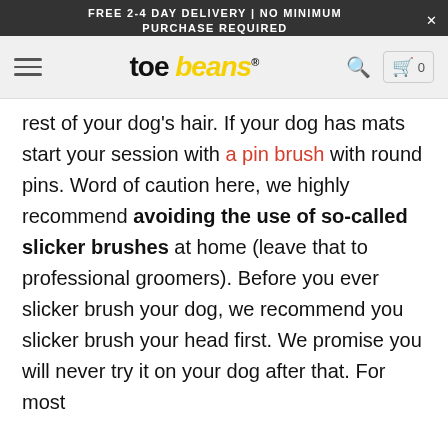FREE 2-4 DAY DELIVERY | NO MINIMUM PURCHASE REQUIRED
[Figure (logo): toe beans logo with paw icon and yellow italic beans text]
rest of your dog's hair. If your dog has mats start your session with a pin brush with round pins. Word of caution here, we highly recommend avoiding the use of so-called slicker brushes at home (leave that to professional groomers). Before you ever slicker brush your dog, we recommend you slicker brush your head first. We promise you will never try it on your dog after that. For most